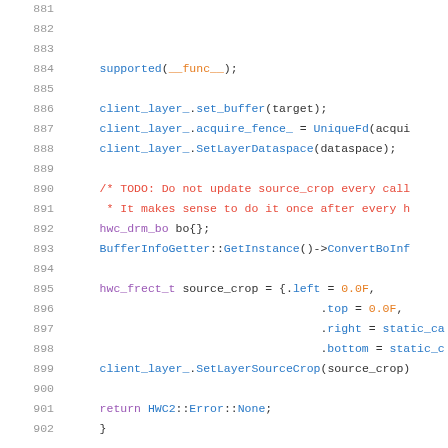[Figure (screenshot): Source code listing showing C++ code lines 881-902, with syntax highlighting. Line numbers in gray on left, code with colored tokens (blue for method names, red for comments, orange for numeric values). Shows client_layer_ operations, a TODO comment block, hwc_drm_bo struct, BufferInfoGetter call, hwc_frect_t source_crop initialization, and return statement.]